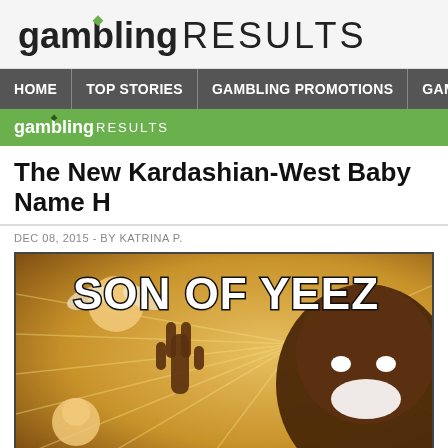gambling RESULTS
HOME | TOP STORIES | GAMBLING PROMOTIONS | GAMBLING N
[Figure (logo): gambling RESULTS logo on green banner]
The New Kardashian-West Baby Name H
DEC 08, 2015 - BY KATRINA P.
[Figure (photo): Meme image showing 'SON OF YEEZ' text with figure making peace sign and cherubs]